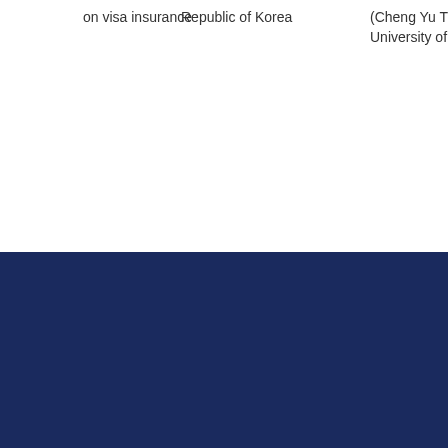on visa insurance
Republic of Korea
(Cheng Yu Tung), University of Toronto
[Figure (logo): University of Toronto Libraries logo with shield emblem and text 'UNIVERSITY OF TORONTO LIBRARIES']
kcha.library.utoronto.ca
Information Technology Services, 130 St. George Street, 7th Floor, Toronto, ON M5S 1A5 Canada
UofT web accessibility. Report a web accessibility problem.
© 2014 University of Toronto. All rights reserved.